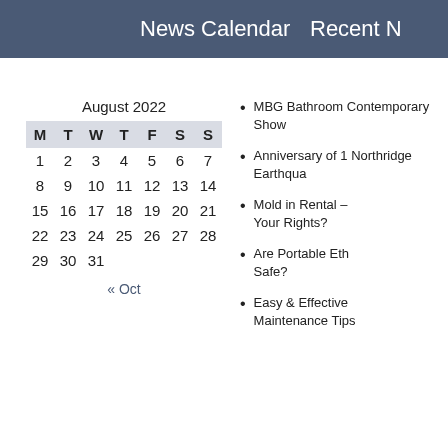News Calendar   Recent N
August 2022
| M | T | W | T | F | S | S |
| --- | --- | --- | --- | --- | --- | --- |
| 1 | 2 | 3 | 4 | 5 | 6 | 7 |
| 8 | 9 | 10 | 11 | 12 | 13 | 14 |
| 15 | 16 | 17 | 18 | 19 | 20 | 21 |
| 22 | 23 | 24 | 25 | 26 | 27 | 28 |
| 29 | 30 | 31 |  |  |  |  |
« Oct
MBG Bathroom Contemporary Show
Anniversary of 1 Northridge Earthqua
Mold in Rental – Your Rights?
Are Portable Eth Safe?
Easy & Effective Maintenance Tips